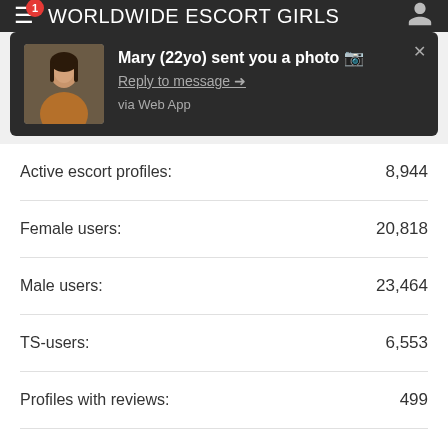WORLDWIDE ESCORT GIRLS
[Figure (screenshot): Push notification popup showing a woman's photo thumbnail, bold text 'Mary (22yo) sent you a photo 📷', underlined link 'Reply to message →', and text 'via Web App', with an X close button.]
| Metric | Value |
| --- | --- |
| Active escort profiles: | 8,944 |
| Female users: | 20,818 |
| Male users: | 23,464 |
| TS-users: | 6,553 |
| Profiles with reviews: | 499 |
| All escorts ever: | 15,833 |
More site stats >
WorldWide Escorts Guide    Help